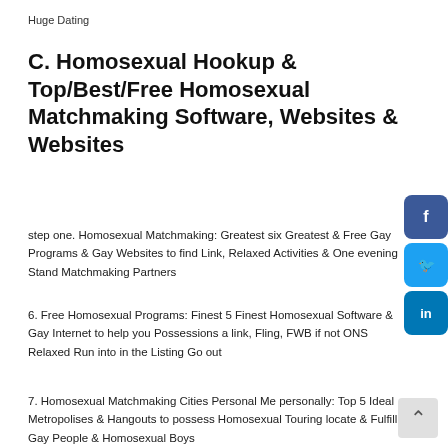Huge Dating
C. Homosexual Hookup & Top/Best/Free Homosexual Matchmaking Software, Websites & Websites
step one. Homosexual Matchmaking: Greatest six Greatest & Free Gay Programs & Gay Websites to find Link, Relaxed Activities & One evening Stand Matchmaking Partners
6. Free Homosexual Programs: Finest 5 Finest Homosexual Software & Gay Internet to help you Possessions a link, Fling, FWB if not ONS Relaxed Run into in the Listing Go out
7. Homosexual Matchmaking Cities Personal Me personally: Top 5 Ideal Metropolises & Hangouts to possess Homosexual Touring locate & Fulfill Gay People & Homosexual Boys